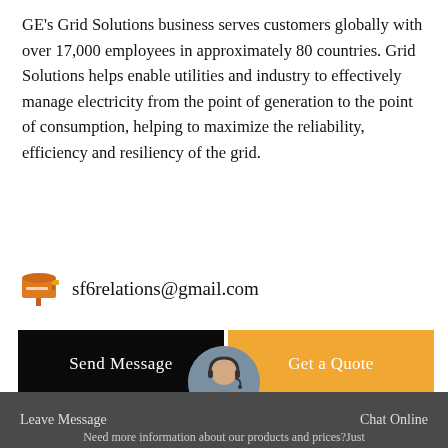GE's Grid Solutions business serves customers globally with over 17,000 employees in approximately 80 countries. Grid Solutions helps enable utilities and industry to effectively manage electricity from the point of generation to the point of consumption, helping to maximize the reliability, efficiency and resiliency of the grid.
sf6relations@gmail.com
[Figure (other): Two buttons side by side: a black 'Send Message' button on the left and an orange 'Get a Quote' button on the right.]
Stay Touch With Us
Leave Message   Chat Online   Need more information about our products and prices?Just